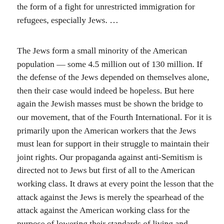the form of a fight for unrestricted immigration for refugees, especially Jews. …
The Jews form a small minority of the American population — some 4.5 million out of 130 million. If the defense of the Jews depended on themselves alone, then their case would indeed be hopeless. But here again the Jewish masses must be shown the bridge to our movement, that of the Fourth International. For it is primarily upon the American workers that the Jews must lean for support in their struggle to maintain their joint rights. Our propaganda against anti-Semitism is directed not to Jews but first of all to the American working class. It draws at every point the lesson that the attack against the Jews is merely the spearhead of the attack against the American working class for the purpose of lowering their standards of living and rendering them powerless to resist this economic blow by depriving them of their democratic rights. The workers and the Jewish masses are natural allies in the antifascist struggle. Our propaganda among both is to convince them to defeat fascism the workers must establish socialism. Not only the general working class is the natural ally of the Jews, but all